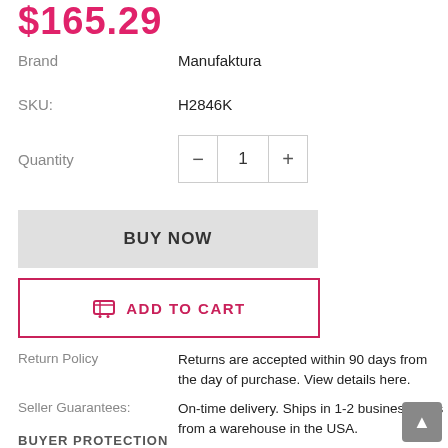$165.29
Brand    Manufaktura
SKU:    H2846K
Quantity    1
BUY NOW
ADD TO CART
Return Policy    Returns are accepted within 90 days from the day of purchase. View details here.
Seller Guarantees:    On-time delivery. Ships in 1-2 business days from a warehouse in the USA.
Payment:    VISA  [Mastercard] [Mastercard] [AmEx] [Discover] PayPal am
BUYER PROTECTION